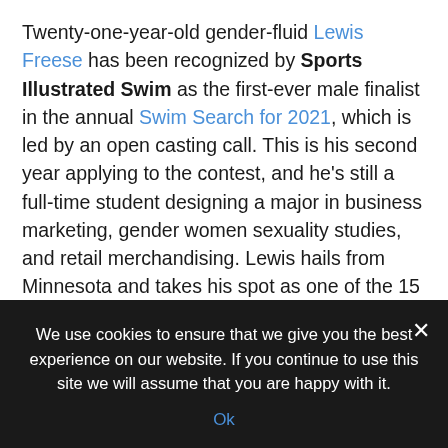Twenty-one-year-old gender-fluid Lewis Freese has been recognized by Sports Illustrated Swim as the first-ever male finalist in the annual Swim Search for 2021, which is led by an open casting call. This is his second year applying to the contest, and he's still a full-time student designing a major in business marketing, gender women sexuality studies, and retail merchandising. Lewis hails from Minnesota and takes his spot as one of the 15 finalists who could go on to be included in the issue among others from the LGBTQ+ community like trans woman of color Leyna Bloom and trans model Valentina Sampaio, both of whom made history on their own.
We use cookies to ensure that we give you the best experience on our website. If you continue to use this site we will assume that you are happy with it. Ok